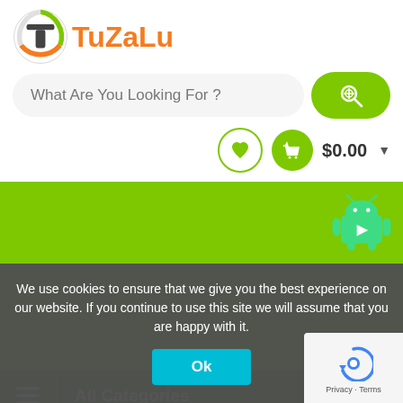[Figure (logo): TuZaLu logo with circular green/orange/white emblem and orange text 'TuZaLu']
What Are You Looking For ?
[Figure (infographic): Green search button with magnifying glass icon]
[Figure (infographic): Heart icon circle (outline green) and basket icon circle (filled green) with cart amount $0.00 and dropdown arrow]
[Figure (infographic): Green banner area with Android robot icon on top right]
All Categories
Home / Blog Details /
How to Hire a specialized Plumber
We use cookies to ensure that we give you the best experience on our website. If you continue to use this site we will assume that you are happy with it.
Ok